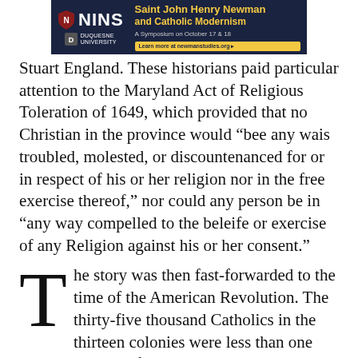[Figure (other): NINS Duquesne University banner advertisement for Saint John Henry Newman and Catholic Modernism symposium on October 17 & 18, with link to newmanstudies.org]
Stuart England. These historians paid particular attention to the Maryland Act of Religious Toleration of 1649, which provided that no Christian in the province would “bee any wais troubled, molested, or discountenanced for or in respect of his or her religion nor in the free exercise thereof,” nor could any person be in “any way compelled to the beleife or exercise of any Religion against his or her consent.”
The story was then fast-forwarded to the time of the American Revolution. The thirty-five thousand Catholics in the thirteen colonies were less than one percent of the national population. But they were nonetheless blessed by great leaders, most prominent among them the Carroll cousins,